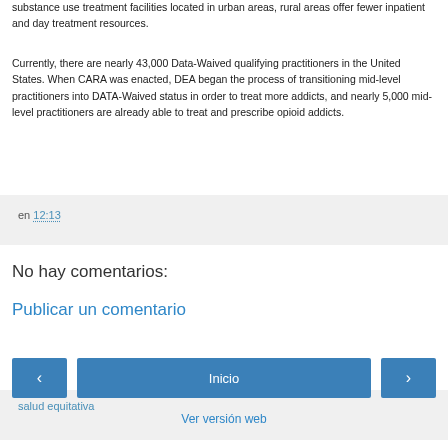substance use treatment facilities located in urban areas, rural areas offer fewer inpatient and day treatment resources.
Currently, there are nearly 43,000 Data-Waived qualifying practitioners in the United States. When CARA was enacted, DEA began the process of transitioning mid-level practitioners into DATA-Waived status in order to treat more addicts, and nearly 5,000 mid-level practitioners are already able to treat and prescribe opioid addicts.
salud equitativa en 12:13
No hay comentarios:
Publicar un comentario
‹
Inicio
›
Ver versión web